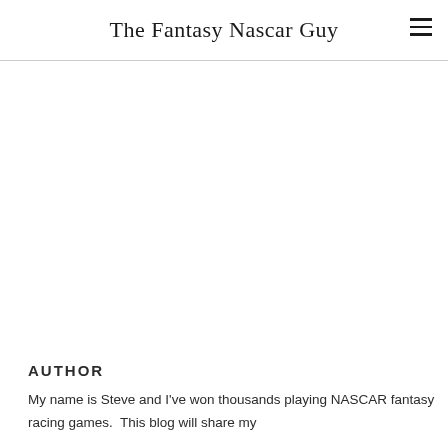The Fantasy Nascar Guy
AUTHOR
My name is Steve and I've won thousands playing NASCAR fantasy racing games.  This blog will share my